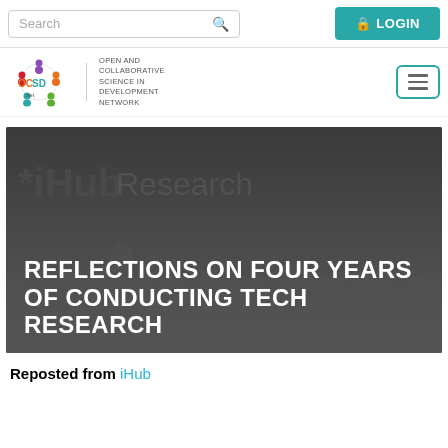Search | LOGIN
[Figure (logo): OCSD Net logo - Open and Collaborative Science in Development Network with colorful figure icons and hamburger menu]
[Figure (photo): Dark grey hero banner with iHub Research watermark text and city skyline silhouette in background, showing title: REFLECTIONS ON FOUR YEARS OF CONDUCTING TECH RESEARCH]
REFLECTIONS ON FOUR YEARS OF CONDUCTING TECH RESEARCH
Reposted from iHub